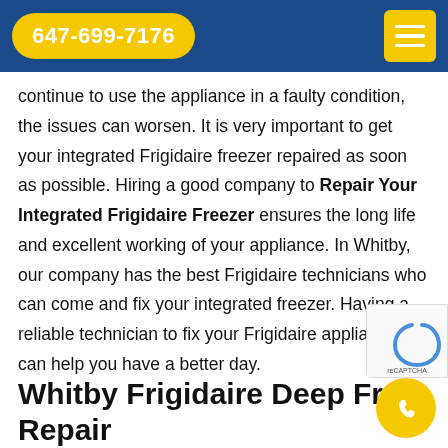647-699-7176
continue to use the appliance in a faulty condition, the issues can worsen. It is very important to get your integrated Frigidaire freezer repaired as soon as possible. Hiring a good company to Repair Your Integrated Frigidaire Freezer ensures the long life and excellent working of your appliance. In Whitby, our company has the best Frigidaire technicians who can come and fix your integrated freezer. Having a reliable technician to fix your Frigidaire appliances can help you have a better day.
Whitby Frigidaire Deep Freezer Repair